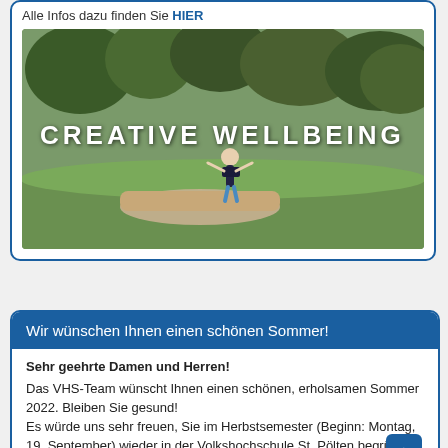Alle Infos dazu finden Sie HIER
[Figure (photo): Outdoor nature photo with a woman jumping/balancing on a fallen log in a green field with trees in the background. White bold text overlay reads 'CREATIVE WELLBEING']
Wir wünschen Ihnen einen schönen Sommer!
Sehr geehrte Damen und Herren!
Das VHS-Team wünscht Ihnen einen schönen, erholsamen Sommer 2022. Bleiben Sie gesund! Es würde uns sehr freuen, Sie im Herbstsemester (Beginn: Montag, 19. September) wieder in der Volkshochschule St. Pölten begrüßen zu dürfen.